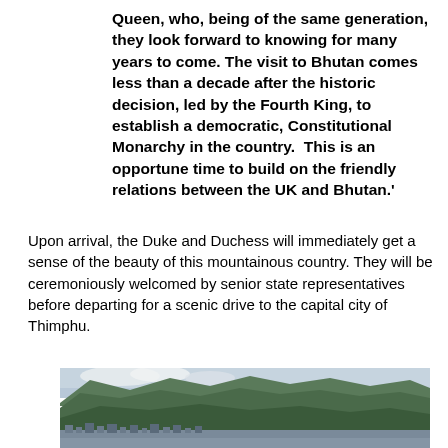Queen, who, being of the same generation, they look forward to knowing for many years to come. The visit to Bhutan comes less than a decade after the historic decision, led by the Fourth King, to establish a democratic, Constitutional Monarchy in the country.  This is an opportune time to build on the friendly relations between the UK and Bhutan.'
Upon arrival, the Duke and Duchess will immediately get a sense of the beauty of this mountainous country. They will be ceremoniously welcomed by senior state representatives before departing for a scenic drive to the capital city of Thimphu.
[Figure (photo): A landscape photograph showing green mountains and hills with a city/town settlement visible in the lower portion, under a partly cloudy sky.]